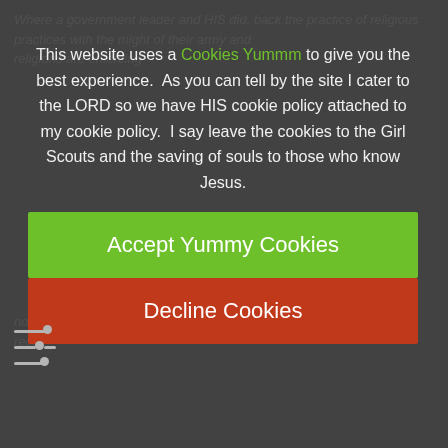This website uses a Cookies Yummm to give you the best experience.  As you can tell by the site I cater to the LORD so we have HIS cookie policy attached to my cookie policy.  I say leave the cookies to the Girl Scouts and the saving of souls to those who know Jesus.
[Figure (other): Green button labeled 'Accept Yummy Cookies' and red/orange button labeled 'Decline Cookies', forming a cookie consent modal overlay on a dark website]
America was built to shine and expose the darkness that has taken our nation.  The war mongers are financed by the bankers who collect interest on their loans to our governments and profit on the taxes we pay them back with.
There is no national loyalty,  they finance all the governments...